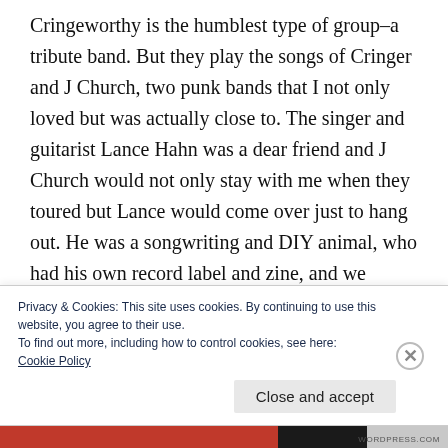Cringeworthy is the humblest type of group–a tribute band. But they play the songs of Cringer and J Church, two punk bands that I not only loved but was actually close to. The singer and guitarist Lance Hahn was a dear friend and J Church would not only stay with me when they toured but Lance would come over just to hang out. He was a songwriting and DIY animal, who had his own record label and zine, and we shared a lot of overlapping interests outside of punk rock: Hong Kong movies, vegetarian
Privacy & Cookies: This site uses cookies. By continuing to use this website, you agree to their use.
To find out more, including how to control cookies, see here:
Cookie Policy
Close and accept